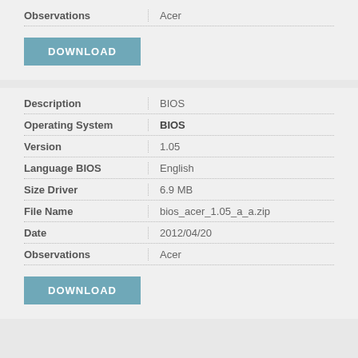| Field | Value |
| --- | --- |
| Observations | Acer |
DOWNLOAD
| Field | Value |
| --- | --- |
| Description | BIOS |
| Operating System | BIOS |
| Version | 1.05 |
| Language BIOS | English |
| Size Driver | 6.9 MB |
| File Name | bios_acer_1.05_a_a.zip |
| Date | 2012/04/20 |
| Observations | Acer |
DOWNLOAD